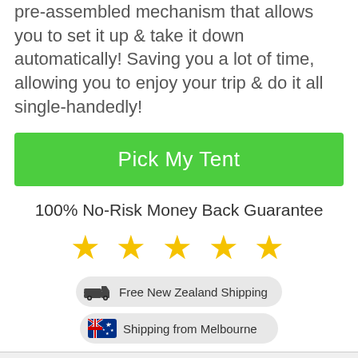pre-assembled mechanism that allows you to set it up & take it down automatically! Saving you a lot of time, allowing you to enjoy your trip & do it all single-handedly!
Pick My Tent
100% No-Risk Money Back Guarantee
[Figure (infographic): Five gold stars rating]
Free New Zealand Shipping
Shipping from Melbourne
Perfect Tent For You!